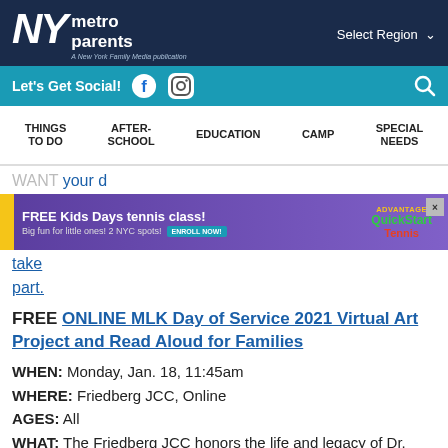NY metro parents — A New York Family Media publication | Select Region
Let's Get Social! [Facebook] [Instagram] [Search]
THINGS TO DO | AFTER-SCHOOL | EDUCATION | CAMP | SPECIAL NEEDS
[Figure (screenshot): Advertisement banner: FREE Kids Days tennis class! Big fun for little ones! 2 NYC spots! ENROLL NOW! Advantage QuickStart Tennis logo. Close button X.]
WANT [your d...] take part.
FREE ONLINE MLK Day of Service 2021 Virtual Art Project and Read Aloud for Families
WHEN: Monday, Jan. 18, 11:45am
WHERE: Friedberg JCC, Online
AGES: All
WHAT: The Friedberg JCC honors the life and legacy of Dr. Martin Luther King, Jr. by serving those in need and